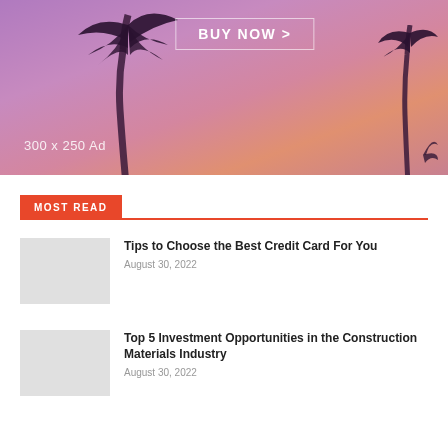[Figure (photo): Advertisement banner with palm trees silhouetted against a purple-pink sunset sky. Text reads 'BUY NOW >' in a outlined box, and '300 x 250 Ad' label in lower left.]
MOST READ
Tips to Choose the Best Credit Card For You
August 30, 2022
Top 5 Investment Opportunities in the Construction Materials Industry
August 30, 2022